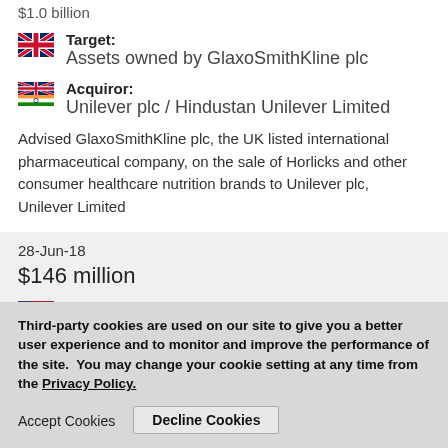$1.0 billion
Target: Assets owned by GlaxoSmithKline plc
Acquiror: Unilever plc / Hindustan Unilever Limited
Advised GlaxoSmithKline plc, the UK listed international pharmaceutical company, on the sale of Horlicks and other consumer healthcare nutrition brands to Unilever plc, Hindustan Unilever Limited
28-Jun-18
$146 million
Target: 35% of Sabine Oil & Gas' interest in oil and gas properties
Acquiror:
Third-party cookies are used on our site to give you a better user experience and to monitor and improve the performance of the site.  You may change your cookie setting at any time from the Privacy Policy.
Accept Cookies
Decline Cookies